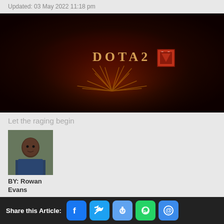Updated: 03 May 2022 11:18 pm
[Figure (photo): Dota 2 logo on dark background with golden crown-like decorative elements]
Let the raging begin
[Figure (photo): Author profile photo - person in blue shirt]
BY: Rowan Evans
Share this Article: